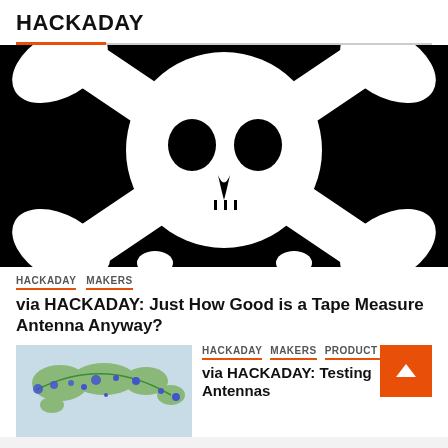HACKADAY
[Figure (illustration): Skull and crossbones icon on black background - Hackaday logo style, white skull centered with crossbones extending to corners]
HACKADAY  MAKERS
via HACKADAY: Just How Good is a Tape Measure Antenna Anyway?
[Figure (map): World map thumbnail showing blue cluster markers and a green arc line, indicating signal reach or geographic data]
HACKADAY  MAKERS  PRODUCT REVIEW
via HACKADAY: Testing Antennas